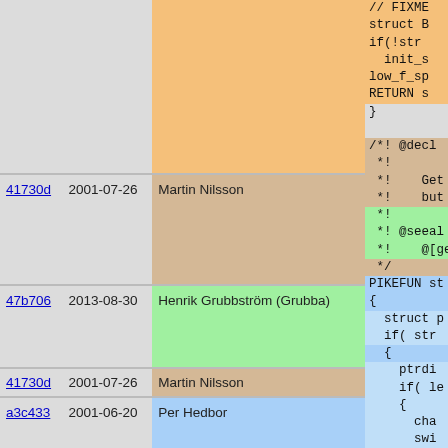| Hash | Date | Author | Code |
| --- | --- | --- | --- |
|  |  |  | // FIXME |
|  |  |  | struct B |
|  |  |  | if(!str |
|  |  |  |   init_s |
|  |  |  | low_f_sp |
|  |  |  | RETURN s |
|  |  |  | } |
| 41730d | 2001-07-26 | Martin Nilsson | /*! @decl |
|  |  |  |  *! |
|  |  |  |  *!    Get |
|  |  |  |  *!    but |
| 47b706 | 2013-08-30 | Henrik Grubbström (Grubba) |  *! |
|  |  |  |  *! @seeal |
|  |  |  |  *!   @[ge |
| 41730d | 2001-07-26 | Martin Nilsson |  */ |
| a3c433 | 2001-06-20 | Per Hedbor | PIKEFUN st |
|  |  |  | { |
| 73b07a | 2001-06-21 | Per Hedbor |   struct p |
|  |  |  |   if( str |
| a3c433 | 2001-06-20 | Per Hedbor |   { |
| 73b07a | 2001-06-21 | Per Hedbor |     ptrdi |
|  |  |  |     if( le |
|  |  |  |     { |
|  |  |  |       cha |
|  |  |  |       swi |